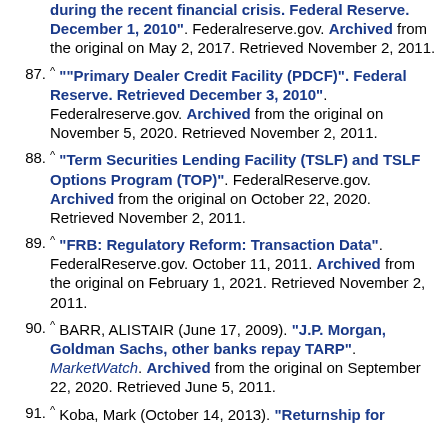[top of page, cut off] during the recent financial crisis. Federal Reserve. December 1, 2010". Federalreserve.gov. Archived from the original on May 2, 2017. Retrieved November 2, 2011.
87. ^ ""Primary Dealer Credit Facility (PDCF)". Federal Reserve. Retrieved December 3, 2010". Federalreserve.gov. Archived from the original on November 5, 2020. Retrieved November 2, 2011.
88. ^ "Term Securities Lending Facility (TSLF) and TSLF Options Program (TOP)". FederalReserve.gov. Archived from the original on October 22, 2020. Retrieved November 2, 2011.
89. ^ "FRB: Regulatory Reform: Transaction Data". FederalReserve.gov. October 11, 2011. Archived from the original on February 1, 2021. Retrieved November 2, 2011.
90. ^ BARR, ALISTAIR (June 17, 2009). "J.P. Morgan, Goldman Sachs, other banks repay TARP". MarketWatch. Archived from the original on September 22, 2020. Retrieved June 5, 2011.
91. ^ Koba, Mark (October 14, 2013). "Returnship for